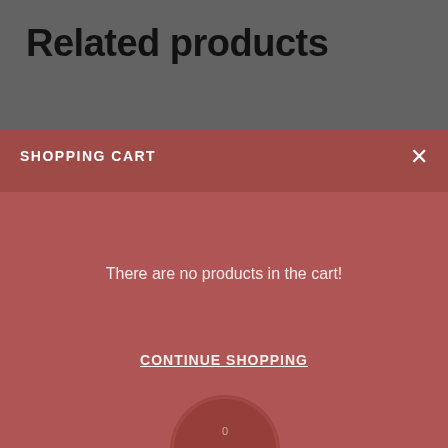Related products
SHOPPING CART
There are no products in the cart!
CONTINUE SHOPPING
[Figure (screenshot): Shopping cart icon badge showing 0 items, partially visible circle overlay]
Golden Age Men of Mystery Digest Special 1